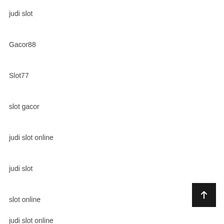judi slot
Gacor88
Slot77
slot gacor
judi slot online
judi slot
slot online
judi slot online